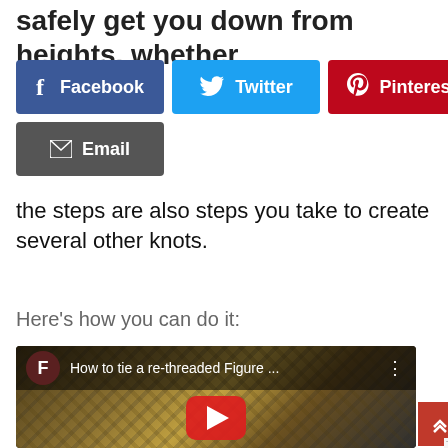safely get you down from heights. whether
[Figure (screenshot): Social sharing buttons: Facebook (blue), Twitter (cyan), Pinterest (red), Email (dark gray)]
the steps are also steps you take to create several other knots.
Here’s how you can do it:
[Figure (screenshot): YouTube video thumbnail showing hands tying a re-threaded Figure 8 knot with rope, with play button overlay. Video title: 'How to tie a re-threaded Figure ...']